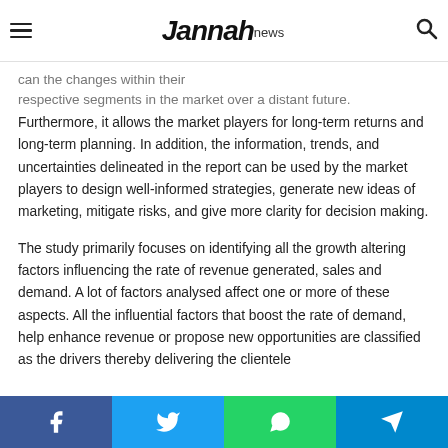Jannah news
some sub-topics mentioned in the report for further study. This can the changes within their respective segments in the market over a distant future. Furthermore, it allows the market players for long-term returns and long-term planning. In addition, the information, trends, and uncertainties delineated in the report can be used by the market players to design well-informed strategies, generate new ideas of marketing, mitigate risks, and give more clarity for decision making.
The study primarily focuses on identifying all the growth altering factors influencing the rate of revenue generated, sales and demand. A lot of factors analysed affect one or more of these aspects. All the influential factors that boost the rate of demand, help enhance revenue or propose new opportunities are classified as the drivers thereby delivering the clientele
Facebook Twitter WhatsApp Telegram